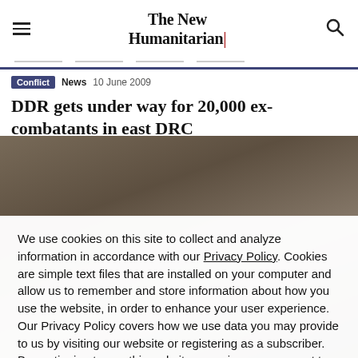The New Humanitarian
Conflict  News  10 June 2009
DDR gets under way for 20,000 ex-combatants in east DRC
[Figure (photo): Crowd of people, appears to be a protest or gathering in DRC]
We use cookies on this site to collect and analyze information in accordance with our Privacy Policy. Cookies are simple text files that are installed on your computer and allow us to remember and store information about how you use the website, in order to enhance your user experience. Our Privacy Policy covers how we use data you may provide to us by visiting our website or registering as a subscriber. By continuing to use this website, you give your consent to our Privacy Policy and to our use of cookies.
OK, I agree